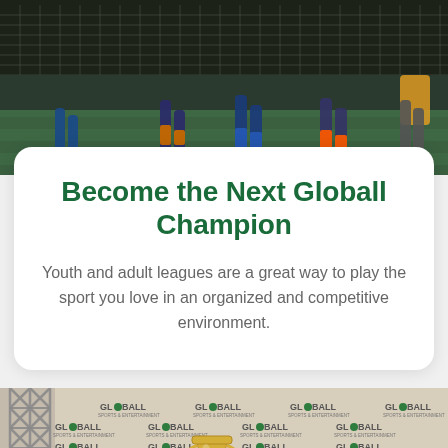[Figure (photo): Soccer players on an indoor green field, shot from a low angle showing legs and cleats, with a net/fence in the background. Dark atmospheric lighting.]
Become the Next Globall Champion
Youth and adult leagues are a great way to play the sport you love in an organized and competitive environment.
[Figure (photo): A person holding up a silver trophy cup in front of a repeating GLOBALL branded step-and-repeat banner backdrop. A metal truss structure is visible on the left side.]